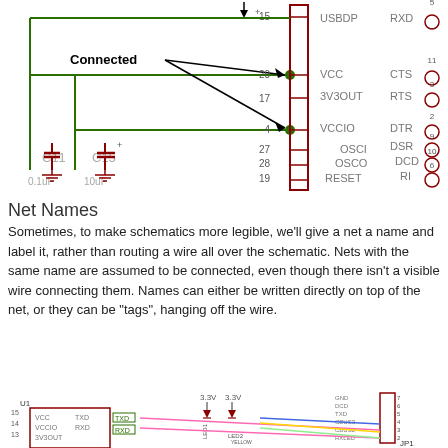[Figure (schematic): Electronic schematic showing connected nets with capacitors C11 (0.1uF) and C15 (10uF), pin numbers 15, 20, 17, 4, 27, 28, 19 and signal labels USBDP, VCC, 3V3OUT, VCCIO, OSCI, OSCO, RESET, RXD, CTS, RTS, DTR, DSR, DCD, RI with circular connector symbols and numbers 5, 11, 3, 2, 9, 10, 6. A 'Connected' annotation with arrow points to a junction dot.]
Net Names
Sometimes, to make schematics more legible, we'll give a net a name and label it, rather than routing a wire all over the schematic. Nets with the same name are assumed to be connected, even though there isn't a visible wire connecting them. Names can either be written directly on top of the net, or they can be "tags", hanging off the wire.
[Figure (schematic): Bottom schematic showing U1 chip with VCC, VCCIO, 3V3OUT, TXD, RXD connections, LEDs LED1 and LED2 YELLOW with 3.3V supplies, CBUS3, CBUS2, RXLED, TXLED net labels, connector JP1, and colored wires (pink, blue, yellow, green).]